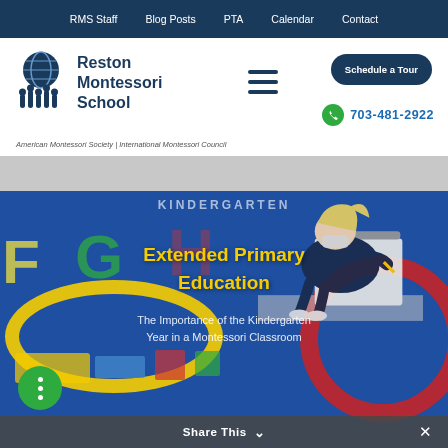RMS Staff | Blog Posts | PTA | Calendar | Contact
Reston Montessori School
Schedule a Tour
703-481-2922
American Montessori Society | International Montessori Council
[Figure (photo): Child lying on alphabet rug writing, with Montessori materials visible. Overlaid text reads: KINDERGARTEN, Extended Primary Education, The Importance of the Kindergarten Year in a Montessori Classroom]
KINDERGARTEN
Extended Primary Education
The Importance of the Kindergarten Year in a Montessori Classroom
Share This ∨